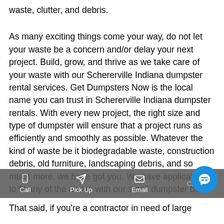waste, clutter, and debris.
As many exciting things come your way, do not let your waste be a concern and/or delay your next project. Build, grow, and thrive as we take care of your waste with our Schererville Indiana dumpster rental services. Get Dumpsters Now is the local name you can trust in Schererville Indiana dumpster rentals. With every new project, the right size and type of dumpster will ensure that a project runs as efficiently and smoothly as possible. Whatever the kind of waste be it biodegradable waste, construction debris, old furniture, landscaping debris, and so much more, we have got you. We have applications to fit any of the above with our small dumpster bin rentals and large roll off dumpster rentals.
Call | Pick Up | Email | Chat
That said, if you're a contractor in need of large